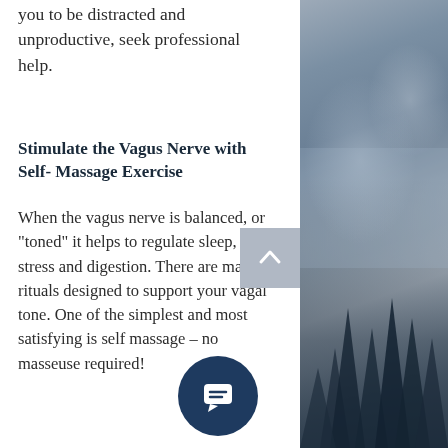you to be distracted and unproductive, seek professional help.
Stimulate the Vagus Nerve with Self- Massage Exercise
When the vagus nerve is balanced, or "toned" it helps to regulate sleep, stress and digestion. There are many rituals designed to support your vagal tone. One of the simplest and most satisfying is self massage – no masseuse required!
[Figure (illustration): Dark blue circle with white chat/comment bubble icon (back-to-top chat button)]
[Figure (photo): Misty forest landscape with pine trees and fog, blue-grey tones, right side panel]